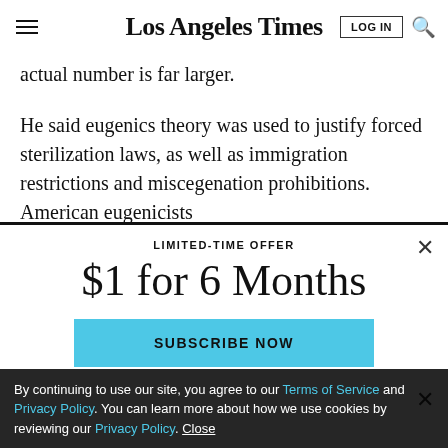Los Angeles Times
actual number is far larger.
He said eugenics theory was used to justify forced sterilization laws, as well as immigration restrictions and miscegenation prohibitions. American eugenicists
LIMITED-TIME OFFER
$1 for 6 Months
SUBSCRIBE NOW
By continuing to use our site, you agree to our Terms of Service and Privacy Policy. You can learn more about how we use cookies by reviewing our Privacy Policy. Close